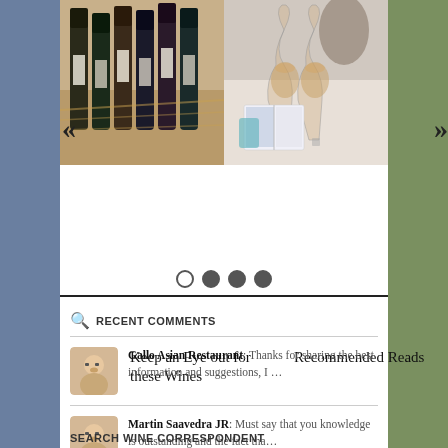[Figure (photo): Two carousel cards: left shows wine bottles in a wooden crate, right shows two wine glasses and an open book/magazine]
Keep an Eye out for these Wines
Recommended Reads
RECENT COMMENTS
Gallo Asian Restaurant: Thanks for sharing the best information and suggestions, I …
Martin Saavedra JR: Must say that you knowledge is outstanding and the fact tha…
SEARCH WINE CORRESPONDENT